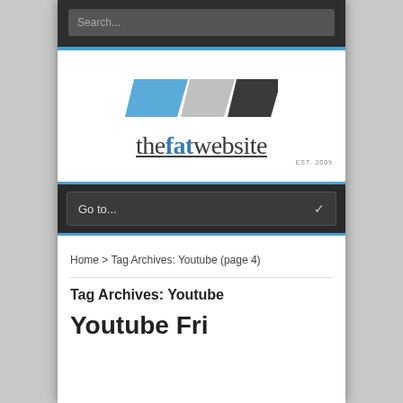Search...
[Figure (logo): thefatwebsite logo with three parallelogram shapes (blue, gray, dark) above the text 'thefatwebsite' in serif font with EST 2009 tagline]
Go to...
Home > Tag Archives: Youtube (page 4)
Tag Archives: Youtube
Youtube Fri